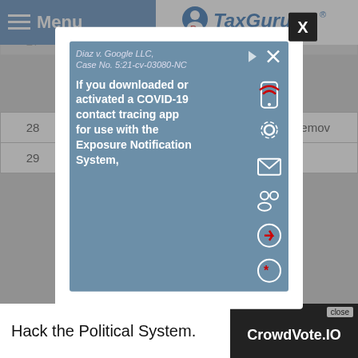Menu | TaxGuru - Complete Tax Solution
| # | Section | Description |
| --- | --- | --- |
| 26 | Section-77 | Interpretation of C... |
| 27 | Section-79 | Power to make... |
| 28 | Section-80 | Power to remov... |
| 29 |  | ...ional prov... |
Author ... VESH & ASSOCI... ice from Delhi ... ontacted at csdive...
[Figure (screenshot): Advertisement popup: Diaz v. Google LLC, Case No. 5:21-cv-03080-NC. 'If you downloaded or activated a COVID-19 contact tracing app for use with the Exposure Notification System,' with icons for mobile/connectivity. Has close X button.]
[Figure (screenshot): Bottom advertisement banner: 'Hack the Political System. CrowdVote.IO' with a close button.]